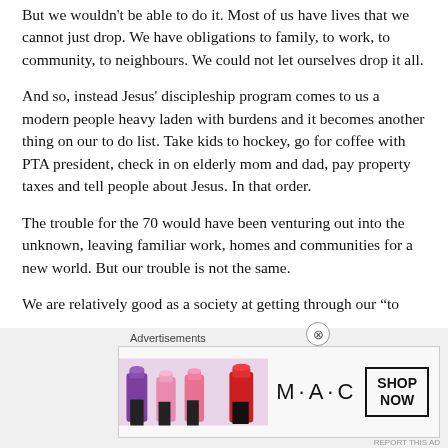But we wouldn't be able to do it. Most of us have lives that we cannot just drop. We have obligations to family, to work, to community, to neighbours. We could not let ourselves drop it all.
And so, instead Jesus' discipleship program comes to us a modern people heavy laden with burdens and it becomes another thing on our to do list. Take kids to hockey, go for coffee with PTA president, check in on elderly mom and dad, pay property taxes and tell people about Jesus. In that order.
The trouble for the 70 would have been venturing out into the unknown, leaving familiar work, homes and communities for a new world. But our trouble is not the same.
We are relatively good as a society at getting through our “to
Advertisements
[Figure (other): MAC Cosmetics advertisement banner showing lipsticks in purple, pink, and red colors with MAC logo and SHOP NOW button]